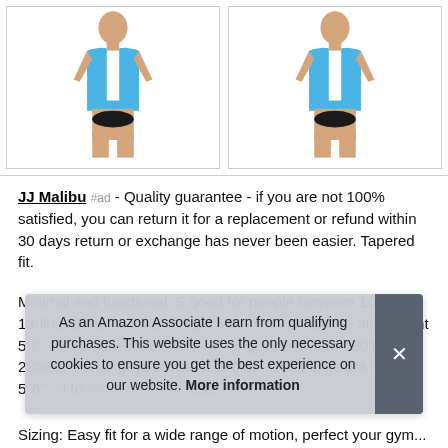[Figure (photo): Two product photos side by side of a man wearing a blue tank top and shorts/underwear, front and back views]
JJ Malibu #ad - Quality guarantee - if you are not 100% satisfied, you can return it for a replacement or refund within 30 days return or exchange has never been easier. Tapered fit.
Minimal and functional. S good for people between 100lbs - 130lbs, chest 40 - 42", height 5'9" - 6'0", chest 36 - 38", height 5'7" - 5"10", chest 38 - 40", - xl for guys between 180lbs - 220lbs, - m for guys between 120lbs - 160lbs, height 5'6" - 5"8", - l fo... 5'11...
As an Amazon Associate I earn from qualifying purchases. This website uses the only necessary cookies to ensure you get the best experience on our website. More information
Sizing: Easy fit for a wide range of motion, perfect your gym...